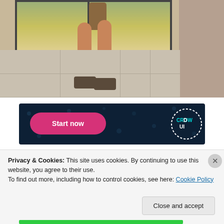[Figure (photo): Photo of person's legs in sandals standing on a tiled outdoor patio with a glass sliding door and green trees visible in background]
[Figure (screenshot): Dark navy advertisement banner with pink 'Start now' button and CROWD logo circle on right side with dot pattern background]
Privacy & Cookies: This site uses cookies. By continuing to use this website, you agree to their use.
To find out more, including how to control cookies, see here: Cookie Policy
Close and accept